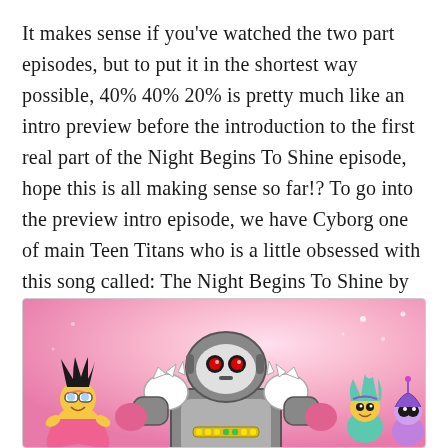It makes sense if you've watched the two part episodes, but to put it in the shortest way possible, 40% 40% 20% is pretty much like an intro preview before the introduction to the first real part of the Night Begins To Shine episode, hope this is all making sense so far!? To go into the preview intro episode, we have Cyborg one of main Teen Titans who is a little obsessed with this song called: The Night Begins To Shine by the band B.E.R.
[Figure (illustration): Cartoon illustration of Teen Titans Go characters including Cyborg (large robot character in center) and other smaller characters on a pink/magenta gradient background.]